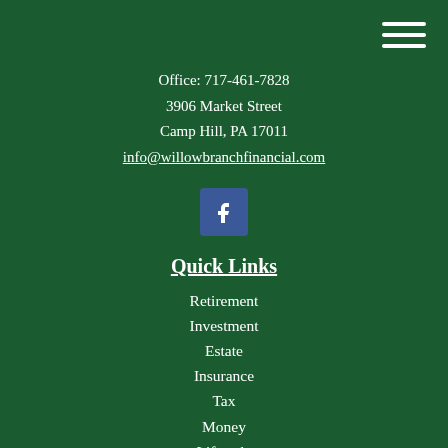[Figure (other): Hamburger menu icon with three horizontal white lines in top-right corner]
Office: 717-461-7828
3906 Market Street
Camp Hill, PA 17011
info@willowbranchfinancial.com
[Figure (logo): Facebook social media icon button - blue square with white 'f' letter]
Quick Links
Retirement
Investment
Estate
Insurance
Tax
Money
Lifestyle
All Articles
All Videos